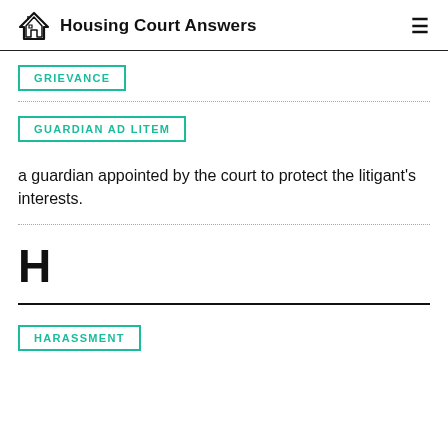Housing Court Answers
GRIEVANCE
GUARDIAN AD LITEM
a guardian appointed by the court to protect the litigant's interests.
H
HARASSMENT